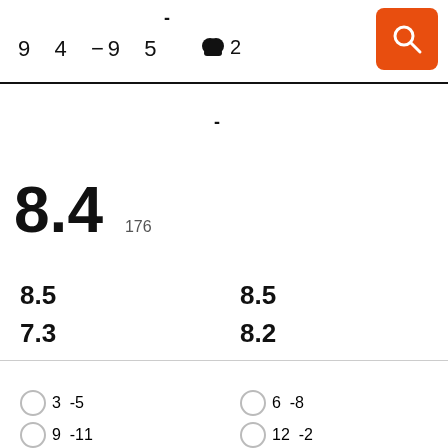-
9  4  −9  5    👥 2
[Figure (other): Orange search button with magnifying glass icon]
-
8.4   176
8.5   8.5
7.3   8.2
3  -5
6  -8
9  -11
12  -2